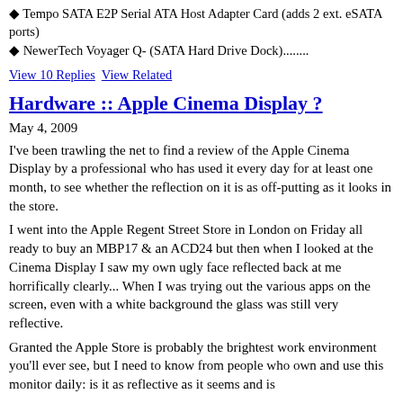◆ Tempo SATA E2P Serial ATA Host Adapter Card (adds 2 ext. eSATA ports)
◆ NewerTech Voyager Q- (SATA Hard Drive Dock)........
View 10 Replies  View Related
Hardware :: Apple Cinema Display ?
May 4, 2009
I've been trawling the net to find a review of the Apple Cinema Display by a professional who has used it every day for at least one month, to see whether the reflection on it is as off-putting as it looks in the store.
I went into the Apple Regent Street Store in London on Friday all ready to buy an MBP17 & an ACD24 but then when I looked at the Cinema Display I saw my own ugly face reflected back at me horrifically clearly... When I was trying out the various apps on the screen, even with a white background the glass was still very reflective.
Granted the Apple Store is probably the brightest work environment you'll ever see, but I need to know from people who own and use this monitor daily: is it as reflective as it seems and is